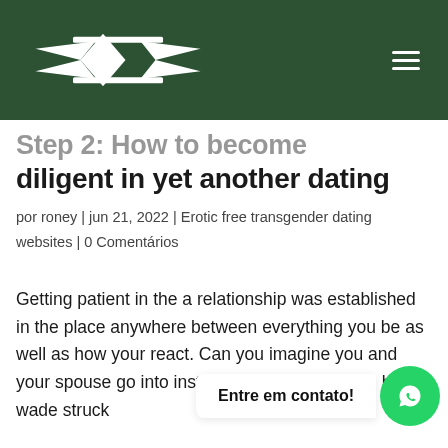Logo and navigation header
Step 2: How to become diligent in yet another dating
por roney | jun 21, 2022 | Erotic free transgender dating websites | 0 Comentários
Getting patient in the a relationship was established in the place anywhere between everything you be as well as how your react. Can you imagine you and your spouse go into instantaneous impulse will be wade struck